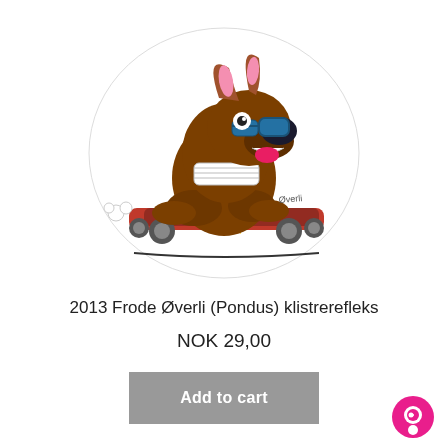[Figure (illustration): Cartoon sticker illustration of a brown dog (Pondus character) riding a red skateboard with a yellow star, wearing a striped scarf and holding sunglasses, with motion clouds near wheels. Artist signature 'Øverli' visible.]
2013 Frode Øverli (Pondus) klistrerefleks
NOK 29,00
Add to cart